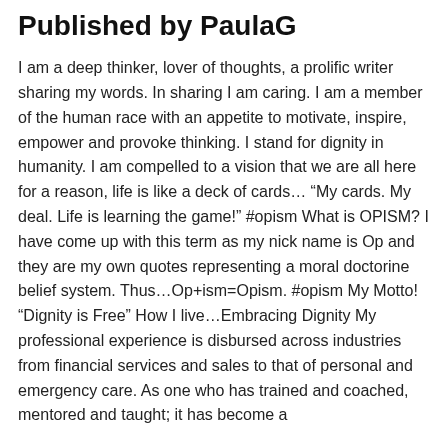Published by PaulaG
I am a deep thinker, lover of thoughts, a prolific writer sharing my words. In sharing I am caring. I am a member of the human race with an appetite to motivate, inspire, empower and provoke thinking. I stand for dignity in humanity. I am compelled to a vision that we are all here for a reason, life is like a deck of cards… “My cards. My deal. Life is learning the game!” #opism What is OPISM? I have come up with this term as my nick name is Op and they are my own quotes representing a moral doctorine belief system. Thus…Op+ism=Opism. #opism My Motto! “Dignity is Free” How I live…Embracing Dignity My professional experience is disbursed across industries from financial services and sales to that of personal and emergency care. As one who has trained and coached, mentored and taught; it has become a